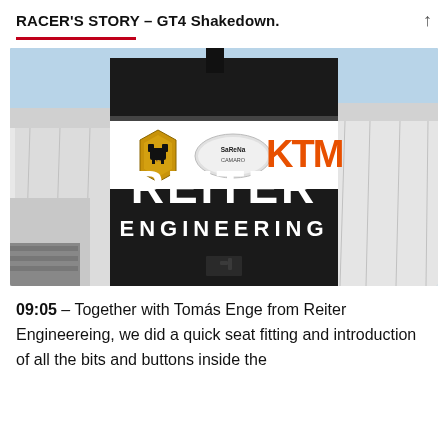RACER'S STORY – GT4 Shakedown.
[Figure (photo): Photo of a Reiter Engineering truck/trailer with Lamborghini, SaRena Camaro, and KTM logos on a black panel, parked outdoors with white tent structures visible on either side.]
09:05 – Together with Tomás Enge from Reiter Engineereing, we did a quick seat fitting and introduction of all the bits and buttons inside the cockpit, in addition to the to preset the cabin in...